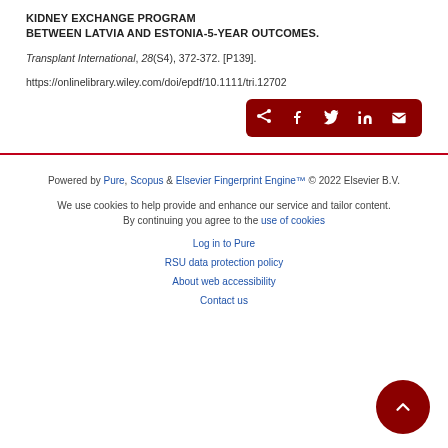KIDNEY EXCHANGE PROGRAM BETWEEN LATVIA AND ESTONIA-5-YEAR OUTCOMES. Transplant International, 28(S4), 372-372. [P139]. https://onlinelibrary.wiley.com/doi/epdf/10.1111/tri.12702
[Figure (other): Share buttons row: share arrow icon, Facebook, Twitter, LinkedIn, email icons on dark red background]
Powered by Pure, Scopus & Elsevier Fingerprint Engine™ © 2022 Elsevier B.V.
We use cookies to help provide and enhance our service and tailor content. By continuing you agree to the use of cookies
Log in to Pure
RSU data protection policy
About web accessibility
Contact us